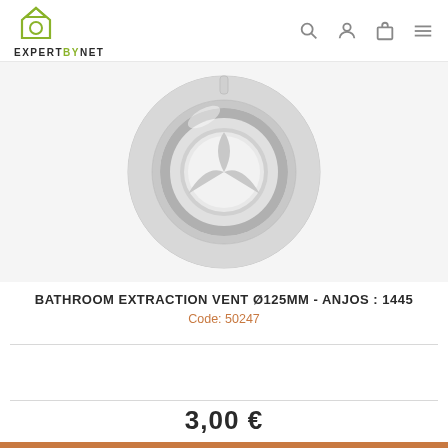EXPERTBYNET
[Figure (photo): Circular bathroom extraction vent / grille, Ø125mm, white/silver color, round with adjustable central disc, product code 50247 by Anjos]
BATHROOM EXTRACTION VENT Ø125MM - ANJOS : 1445
Code: 50247
3,00 €